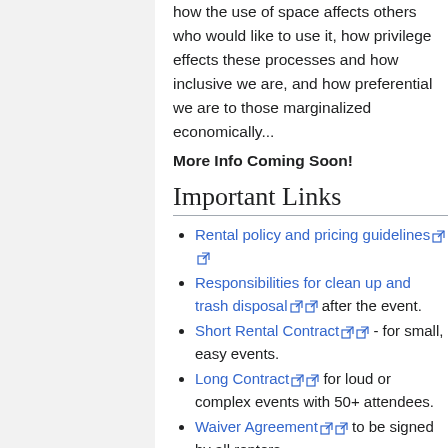how the use of space affects others who would like to use it, how privilege effects these processes and how inclusive we are, and how preferential we are to those marginalized economically...
More Info Coming Soon!
Important Links
Rental policy and pricing guidelines [external link]
Responsibilities for clean up and trash disposal [external link] after the event.
Short Rental Contract [external link] - for small, easy events.
Long Contract [external link] for loud or complex events with 50+ attendees.
Waiver Agreement [external link] to be signed by all renters.
Disco Room Waiver [external link]